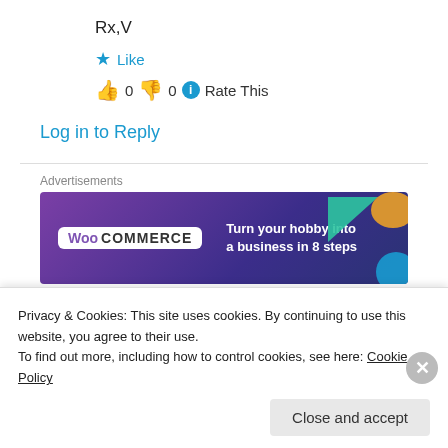Rx,V
★ Like
👍 0 👎 0 ⓘ Rate This
Log in to Reply
Advertisements
[Figure (illustration): WooCommerce advertisement banner: 'Turn your hobby into a business in 8 steps' on dark purple background with geometric shapes]
Rev. Alia Aurami, Ph.D. on April 15, 2014 at 4:54 am
Privacy & Cookies: This site uses cookies. By continuing to use this website, you agree to their use.
To find out more, including how to control cookies, see here: Cookie Policy